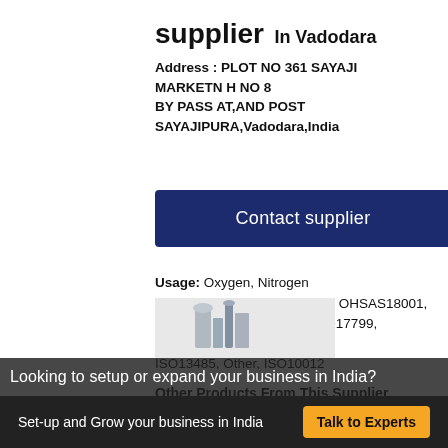supplier In Vadodara
Address : PLOT NO 361 SAYAJI MARKETN H NO 8 BY PASS AT,AND POST SAYAJIPURA,Vadodara,India
Contact supplier
Usage: Oxygen, Nitrogen
Mgnt Certification: ISO9001, OHSAS18001, ISO/TS16949, ISO22000, ISO17799, ISO14001, ISO13485, Other, ISO10012
Other Products From This Supplier
Looking to setup or expand your business in India?
Set-up and Grow your business in India  Talk to Experts